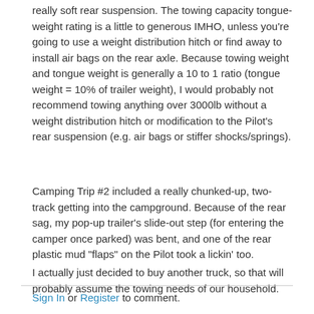really soft rear suspension. The towing capacity tongue-weight rating is a little to generous IMHO, unless you're going to use a weight distribution hitch or find away to install air bags on the rear axle. Because towing weight and tongue weight is generally a 10 to 1 ratio (tongue weight = 10% of trailer weight), I would probably not recommend towing anything over 3000lb without a weight distribution hitch or modification to the Pilot's rear suspension (e.g. air bags or stiffer shocks/springs).
Camping Trip #2 included a really chunked-up, two-track getting into the campground. Because of the rear sag, my pop-up trailer's slide-out step (for entering the camper once parked) was bent, and one of the rear plastic mud "flaps" on the Pilot took a lickin' too.
I actually just decided to buy another truck, so that will probably assume the towing needs of our household.
Sign In or Register to comment.